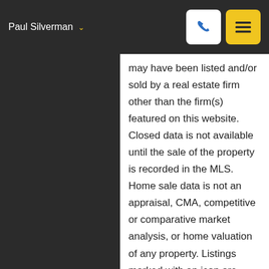Paul Silverman
may have been listed and/or sold by a real estate firm other than the firm(s) featured on this website. Closed data is not available until the sale of the property is recorded in the MLS. Home sale data is not an appraisal, CMA, competitive or comparative market analysis, or home valuation of any property. Listings marked with an icon are provided courtesy of the Triangle MLS, Inc. of